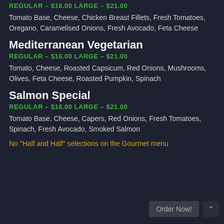REGULAR – $16.00 LARGE – $21.00
Tomato Base, Cheese, Chicken Breast Fillets, Fresh Tomatoes, Oregano, Caramelised Onions, Fresh Avocado, Feta Cheese
Mediterranean Vegetarian
REGULAR – $16.00 LARGE – $21.00
Tomato, Cheese, Roasted Capsicum, Red Onions, Mushrooms, Olives, Feta Cheese, Roasted Pumpkin, Spinach
Salmon Special
REGULAR – $16.00 LARGE – $21.00
Tomato Base, Cheese, Capers, Red Onions, Fresh Tomatoes, Spinach, Fresh Avocado, Smoked Salmon
No "Half and Half" selections on the Gourmet menu